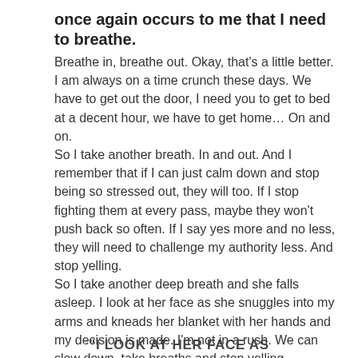once again occurs to me that I need to breathe.
Breathe in, breathe out. Okay, that's a little better. I am always on a time crunch these days. We have to get out the door, I need you to get to bed at a decent hour, we have to get home… On and on.
So I take another breath. In and out. And I remember that if I can just calm down and stop being so stressed out, they will too. If I stop fighting them at every pass, maybe they won't push back so often. If I say yes more and no less, they will need to challenge my authority less. And stop yelling.
So I take another deep breath and she falls asleep. I look at her face as she snuggles into my arms and kneads her blanket with her hands and my decision is made. I'm not in a rush. We can slow down, take breaths and stop yelling.
And we can just enjoy each other. They can be kids. For as long as childhood lasts.
"I LOOK AT HER FACE AS